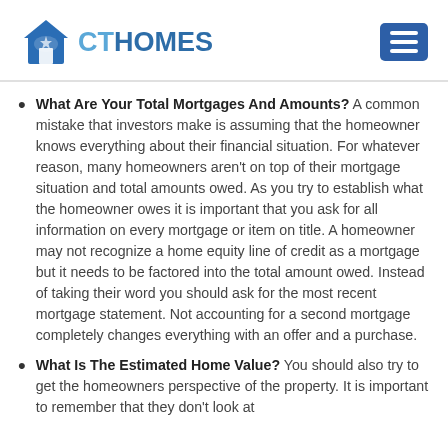CT HOMES
What Are Your Total Mortgages And Amounts? A common mistake that investors make is assuming that the homeowner knows everything about their financial situation. For whatever reason, many homeowners aren't on top of their mortgage situation and total amounts owed. As you try to establish what the homeowner owes it is important that you ask for all information on every mortgage or item on title. A homeowner may not recognize a home equity line of credit as a mortgage but it needs to be factored into the total amount owed. Instead of taking their word you should ask for the most recent mortgage statement. Not accounting for a second mortgage completely changes everything with an offer and a purchase.
What Is The Estimated Home Value? You should also try to get the homeowners perspective of the property. It is important to remember that they don't look at